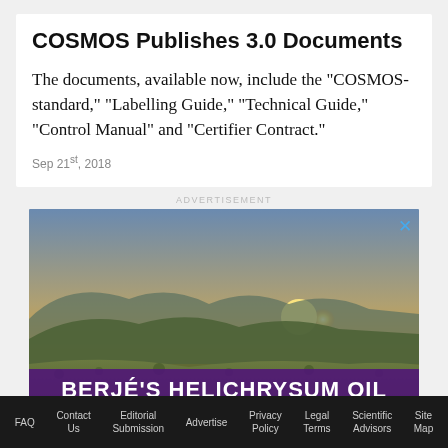COSMOS Publishes 3.0 Documents
The documents, available now, include the "COSMOS-standard," "Labelling Guide," "Technical Guide," "Control Manual" and "Certifier Contract."
Sep 21st, 2018
ADVERTISEMENT
[Figure (photo): Advertisement banner for Berjé's Helichrysum Oil showing a scenic landscape with hills and sunset, with purple overlay text reading BERJÉ'S HELICHRYSUM OIL AN EVERLASTING COSMETIC SOLUTION]
FAQ  Contact Us  Editorial Submission  Advertise  Privacy Policy  Legal Terms  Scientific Advisors  Site Map